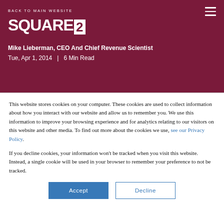BACK TO MAIN WEBSITE
[Figure (logo): Square 2 logo in white on dark red background]
Mike Lieberman, CEO And Chief Revenue Scientist
Tue, Apr 1, 2014  |  6 Min Read
This website stores cookies on your computer. These cookies are used to collect information about how you interact with our website and allow us to remember you. We use this information to improve your browsing experience and for analytics relating to our visitors on this website and other media. To find out more about the cookies we use, see our Privacy Policy.
If you decline cookies, your information won't be tracked when you visit this website. Instead, a single cookie will be used in your browser to remember your preference to not be tracked.
Accept
Decline